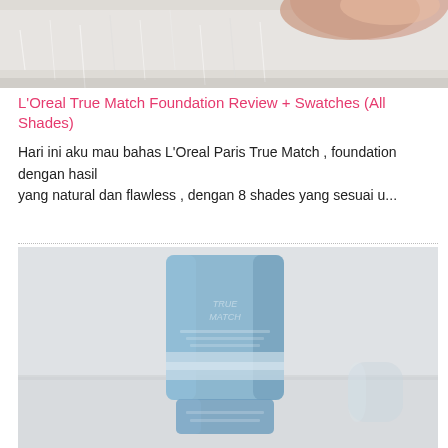[Figure (photo): Close-up photo of fingers holding something, with white fluffy fur/fabric background, cropped at top]
L'Oreal True Match Foundation Review + Swatches (All Shades)
Hari ini aku mau bahas L'Oreal Paris True Match , foundation dengan hasil yang natural dan flawless , dengan 8 shades yang sesuai u...
[Figure (photo): Blurry photo of a blue rectangular product bottle (L'Oreal True Match foundation) on a light background]